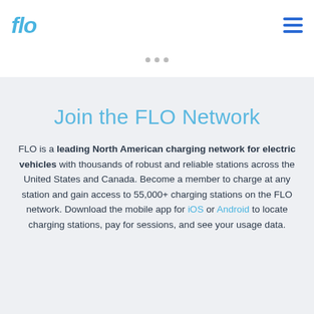flo
Join the FLO Network
FLO is a leading North American charging network for electric vehicles with thousands of robust and reliable stations across the United States and Canada. Become a member to charge at any station and gain access to 55,000+ charging stations on the FLO network. Download the mobile app for iOS or Android to locate charging stations, pay for sessions, and see your usage data.